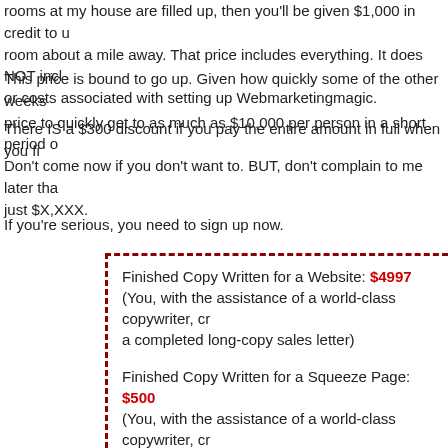rooms at my house are filled up, then you'll be given $1,000 in credit to u room about a mile away. That price includes everything. It does NOT incl or costs associated with setting up Webmarketingmagic.
This price is bound to go up. Given how quickly some of the other weeks price to quickly get to as much as $10,000 per person in a short period o
There IS a $300 discount if you pay the entire amount in full when you fi
Don't come now if you don't want to. BUT, don't complain to me later tha just $X,XXX.
If you're serious, you need to sign up now.
Finished Copy Written for a Website: $4997 (You, with the assistance of a world-class copywriter, cr a completed long-copy sales letter)
Finished Copy Written for a Squeeze Page: $500 (You, with the assistance of a world-class copywriter, cr a squeeze page to capture names)
WebMarketingMagic Tutorial: $375 (Learn the effective use of a world class piece of softwa that will become the backbone of your online marketing business.